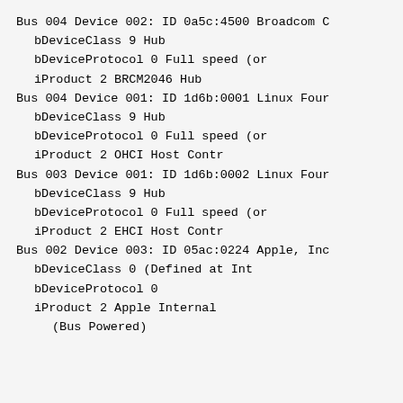Bus 004 Device 002: ID 0a5c:4500 Broadcom C
  bDeviceClass           9 Hub
  bDeviceProtocol        0 Full speed (or
  iProduct               2 BRCM2046 Hub
Bus 004 Device 001: ID 1d6b:0001 Linux Four
  bDeviceClass           9 Hub
  bDeviceProtocol        0 Full speed (or
  iProduct               2 OHCI Host Contr
Bus 003 Device 001: ID 1d6b:0002 Linux Four
  bDeviceClass           9 Hub
  bDeviceProtocol        0 Full speed (or
  iProduct               2 EHCI Host Contr
Bus 002 Device 003: ID 05ac:0224 Apple, Inc
  bDeviceClass           0 (Defined at Int
  bDeviceProtocol        0
  iProduct               2 Apple Internal
      (Bus Powered)